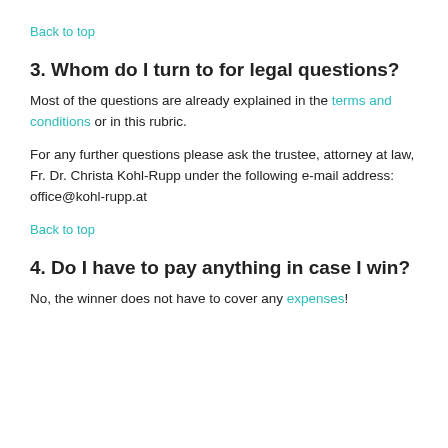Back to top
3. Whom do I turn to for legal questions?
Most of the questions are already explained in the terms and conditions or in this rubric.
For any further questions please ask the trustee, attorney at law, Fr. Dr. Christa Kohl-Rupp under the following e-mail address: office@kohl-rupp.at
Back to top
4. Do I have to pay anything in case I win?
No, the winner does not have to cover any expenses!